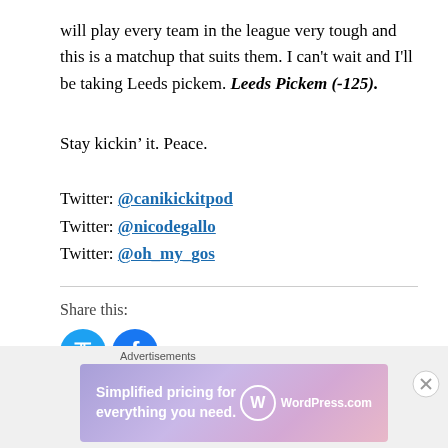will play every team in the league very tough and this is a matchup that suits them. I can't wait and I'll be taking Leeds pickem. Leeds Pickem (-125).
Stay kickin' it. Peace.
Twitter: @canikickitpod
Twitter: @nicodegallo
Twitter: @oh_my_gos
Share this:
[Figure (infographic): WordPress.com advertisement banner with text 'Simplified pricing for everything you need.' and WordPress.com logo]
Advertisements